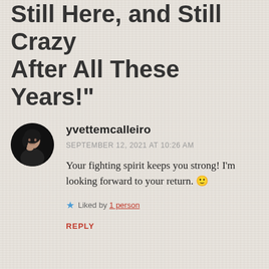Still Here, and Still Crazy After All These Years!"
[Figure (illustration): Circular avatar photo of a woman (yvettemcalleiro) with dark hair, hand near chin, on black background]
yvettemcalleiro
SEPTEMBER 12, 2021 AT 10:26 AM
Your fighting spirit keeps you strong! I'm looking forward to your return. 🙂
★ Liked by 1 person
REPLY